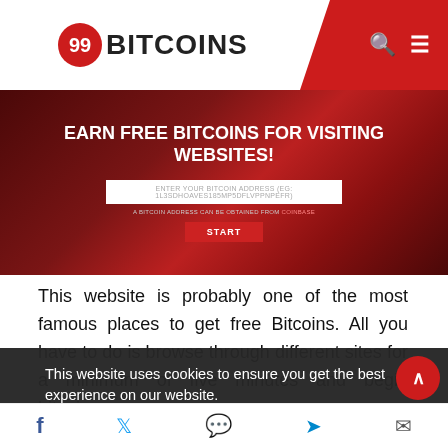99BITCOINS
[Figure (screenshot): Banner ad: EARN FREE BITCOINS FOR VISITING WEBSITES! with input field for bitcoin address and a START button on dark red geometric background]
This website is probably one of the most famous places to get free Bitcoins. All you have to do is browse through different sites for a minimum of five minutes and begin bitcoins...
This website uses cookies to ensure you get the best experience on our website. Learn more
2. Daily Bitcoins
Accept
Daily Bitcoins gives you free Bitcoins one time per...